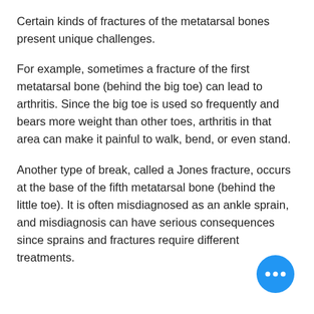Certain kinds of fractures of the metatarsal bones present unique challenges.
For example, sometimes a fracture of the first metatarsal bone (behind the big toe) can lead to arthritis. Since the big toe is used so frequently and bears more weight than other toes, arthritis in that area can make it painful to walk, bend, or even stand.
Another type of break, called a Jones fracture, occurs at the base of the fifth metatarsal bone (behind the little toe). It is often misdiagnosed as an ankle sprain, and misdiagnosis can have serious consequences since sprains and fractures require different treatments.